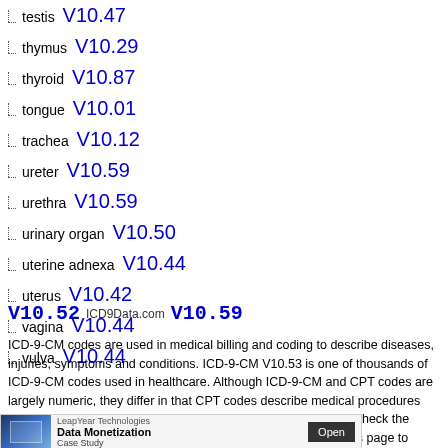testis V10.47
thymus V10.29
thyroid V10.87
tongue V10.01
trachea V10.12
ureter V10.59
urethra V10.59
urinary organ V10.50
uterine adnexa V10.44
uterus V10.42
vagina V10.44
vulva V10.44
V10.52 ICD9Data.com V10.59
ICD-9-CM codes are used in medical billing and coding to describe diseases, injuries, symptoms and conditions. ICD-9-CM V10.53 is one of thousands of ICD-9-CM codes used in healthcare. Although ICD-9-CM and CPT codes are largely numeric, they differ in that CPT codes describe medical procedures and services. Can't find a code? Start at the root of ICD-9-CM, check the 2015 ICD-9-CM Index or use the search engine at the top of this page to lookup any code.
[Figure (other): LeapYear Technologies advertisement banner: Data Monetization Case Study, with Open button]